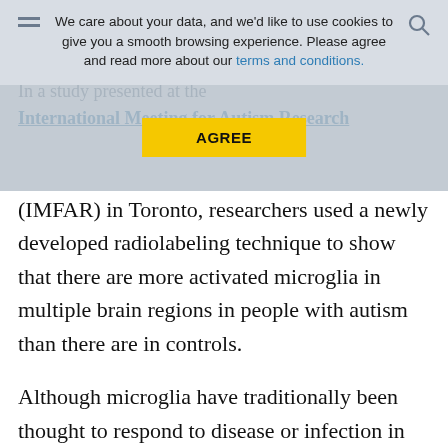We care about your data, and we'd like to use cookies to give you a smooth browsing experience. Please agree and read more about our terms and conditions.
In a study presented at the International Meeting for Autism Research (IMFAR) in Toronto, researchers used a newly developed radiolabeling technique to show that there are more activated microglia in multiple brain regions in people with autism than there are in controls.
Although microglia have traditionally been thought to respond to disease or infection in the brain, a flurry of studies over the past